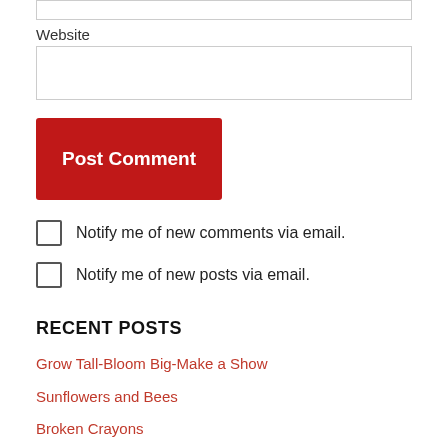Website
Post Comment
Notify me of new comments via email.
Notify me of new posts via email.
RECENT POSTS
Grow Tall-Bloom Big-Make a Show
Sunflowers and Bees
Broken Crayons